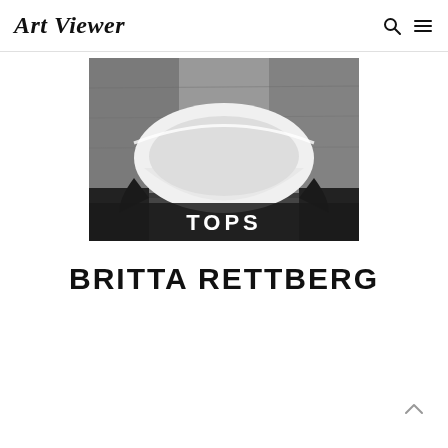Art Viewer
[Figure (photo): Black and white photograph of a large white bowl-shaped sculpture in an industrial or concrete space, with 'TOPS' text overlaid at the bottom]
BRITTA RETTBERG